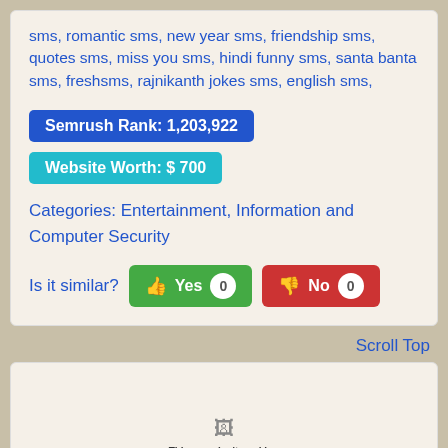sms, romantic sms, new year sms, friendship sms, quotes sms, miss you sms, hindi funny sms, santa banta sms, freshsms, rajnikanth jokes sms, english sms,
Semrush Rank: 1,203,922
Website Worth: $ 700
Categories: Entertainment, Information and Computer Security
Is it similar? Yes 0 No 0
Scroll Top
[Figure (screenshot): Screenshot of a browser error page showing 'This page isn't working' message]